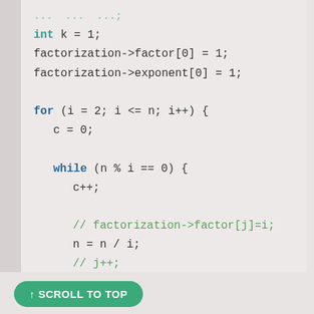int k = 1;
factorization->factor[0] = 1;
factorization->exponent[0] = 1;

for (i = 2; i <= n; i++) {
    c = 0;

    while (n % i == 0) {
        c++;

        // factorization->factor[j]=i;
        n = n / i;
        // j++;
    }
↑ SCROLL TO TOP